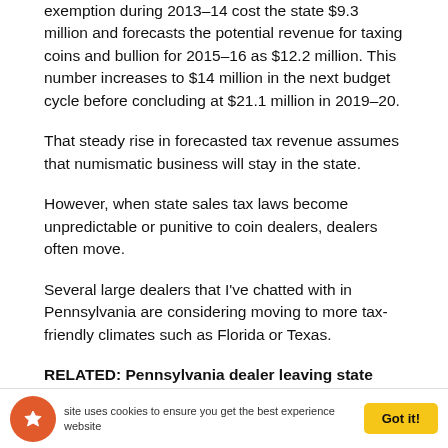exemption during 2013–14 cost the state $9.3 million and forecasts the potential revenue for taxing coins and bullion for 2015–16 as $12.2 million. This number increases to $14 million in the next budget cycle before concluding at $21.1 million in 2019–20.
That steady rise in forecasted tax revenue assumes that numismatic business will stay in the state.
However, when state sales tax laws become unpredictable or punitive to coin dealers, dealers often move.
Several large dealers that I've chatted with in Pennsylvania are considering moving to more tax-friendly climates such as Florida or Texas.
RELATED: Pennsylvania dealer leaving state